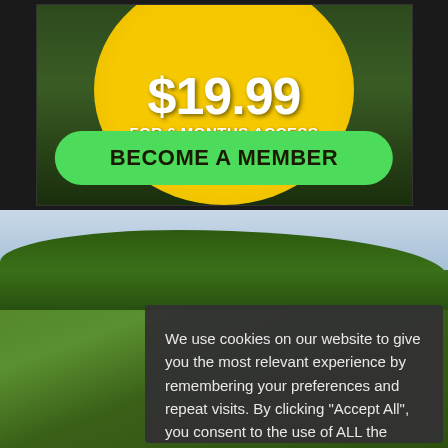[Figure (infographic): Golf membership advertisement banner showing price $19.99 for 6 months access on a yellow circle graphic over a golf course background, with a green 'BECOME A MEMBER' button]
We use cookies on our website to give you the most relevant experience by remembering your preferences and repeat visits. By clicking “Accept All”, you consent to the use of ALL the cookies.
Cookie Settings
Accept All